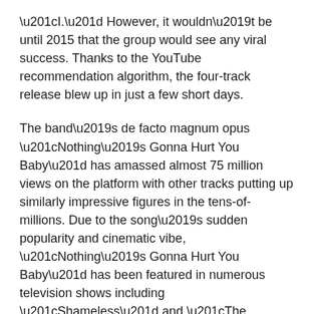“I.” However, it wouldn’t be until 2015 that the group would see any viral success. Thanks to the YouTube recommendation algorithm, the four-track release blew up in just a few short days.
The band’s de facto magnum opus “Nothing’s Gonna Hurt You Baby” has amassed almost 75 million views on the platform with other tracks putting up similarly impressive figures in the tens-of-millions. Due to the song’s sudden popularity and cinematic vibe, “Nothing’s Gonna Hurt You Baby” has been featured in numerous television shows including “Shameless” and “The Handmaid’s Tale.” All this attention allowed them to focus their efforts on creating a full-length album. In June 2017, their work culminated in the release of their self-titled studio album, which debuted to critical praise.